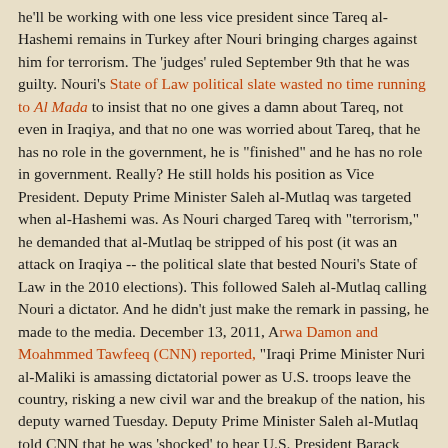he'll be working with one less vice president since Tareq al-Hashemi remains in Turkey after Nouri bringing charges against him for terrorism. The 'judges' ruled September 9th that he was guilty. Nouri's State of Law political slate wasted no time running to Al Mada to insist that no one gives a damn about Tareq, not even in Iraqiya, and that no one was worried about Tareq, that he has no role in the government, he is "finished" and he has no role in government. Really? He still holds his position as Vice President. Deputy Prime Minister Saleh al-Mutlaq was targeted when al-Hashemi was. As Nouri charged Tareq with "terrorism," he demanded that al-Mutlaq be stripped of his post (it was an attack on Iraqiya -- the political slate that bested Nouri's State of Law in the 2010 elections). This followed Saleh al-Mutlaq calling Nouri a dictator. And he didn't just make the remark in passing, he made to the media. December 13, 2011, Arwa Damon and Moahmmed Tawfeeq (CNN) reported, "Iraqi Prime Minister Nuri al-Maliki is amassing dictatorial power as U.S. troops leave the country, risking a new civil war and the breakup of the nation, his deputy warned Tuesday. Deputy Prime Minister Saleh al-Mutlaq told CNN that he was 'shocked' to hear U.S. President Barack Obama greet al-Maliki at the White House on Monday as 'the elected leader of a sovereign, self-reliant and democratic Iraq.' He said Washington is leaving Iraq 'with a dictator' who has ignored a power-sharing agreement, kept control of the country's security forces and rounded up hundreds of people in recent weeks." The round ups, the mass arrests continue. What's changed is Nouri and Saleh have kissed and made up and Saleh now trots after Nouri like an obedient dog or a cooing bird flying overhead. They travel together now and Saleh has confirmed repeatedly to Al Mada...